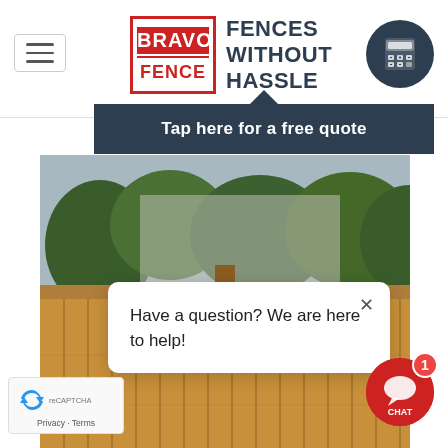[Figure (logo): Bravo Fence logo with red box containing BRAVO and FENCE text, beside tagline FENCES WITHOUT HASSLE in dark navy]
[Figure (screenshot): Calculator icon in dark navy circle, top right of header]
[Figure (other): Hamburger menu icon, top left]
Tap here for a free quote
[Figure (photo): Wooden fence photo showing cedar boards with trees in background]
Have a question? We are here to help!
[Figure (other): Red circular chat button with CHAT label and notification badge showing 1]
[Figure (other): reCAPTCHA widget with Privacy and Terms links]